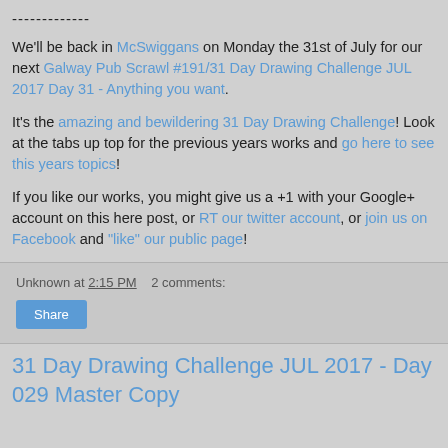-------------
We'll be back in McSwiggans on Monday the 31st of July for our next Galway Pub Scrawl #191/31 Day Drawing Challenge JUL 2017 Day 31 - Anything you want.
It's the amazing and bewildering 31 Day Drawing Challenge! Look at the tabs up top for the previous years works and go here to see this years topics!
If you like our works, you might give us a +1 with your Google+ account on this here post, or RT our twitter account, or join us on Facebook and "like" our public page!
Unknown at 2:15 PM   2 comments:
Share
31 Day Drawing Challenge JUL 2017 - Day 029 Master Copy